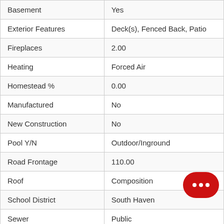| Property Feature | Value |
| --- | --- |
| Basement | Yes |
| Exterior Features | Deck(s), Fenced Back, Patio |
| Fireplaces | 2.00 |
| Heating | Forced Air |
| Homestead % | 0.00 |
| Manufactured | No |
| New Construction | No |
| Pool Y/N | Outdoor/Inground |
| Road Frontage | 110.00 |
| Roof | Composition |
| School District | South Haven |
| Sewer | Public |